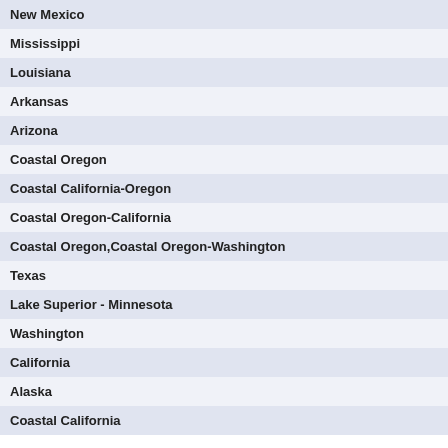| Region | Alert Type |
| --- | --- |
| New Mexico | Fla... |
| Mississippi | Flas... |
| Louisiana | Flas... |
| Arkansas | Flas... |
| Arizona | Seve... |
| Coastal Oregon | Mari... |
| Coastal California-Oregon | Mari... |
| Coastal Oregon-California | Mari... |
| Coastal Oregon,Coastal Oregon-Washington | Mari... |
| Texas | Mari... |
| Lake Superior - Minnesota | Non... |
| Washington | Non... |
| California | Non... |
| Alaska | Non... |
| Coastal California | Non... |
Back to Top
About us  |  Weather on your s...
©2022 Custom... "MyForecast" and "Weather t...